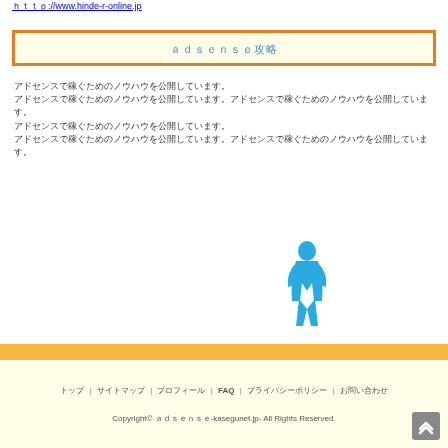http://www.hinde-r-online.jp
ａｄｓｅｎｓｅ攻略
アドセンスで稼ぐためのノウハウを公開しています。
アドセンスで稼ぐためのノウハウを公開しています。アドセンスで稼ぐためのノウハウを公開しています。
アドセンスで稼ぐためのノウハウを公開しています。
アドセンスで稼ぐためのノウハウを公開しています。アドセンスで稼ぐためのノウハウを公開しています。
[Figure (illustration): Blue silhouette of a person standing]
トップ | サイトマップ | プロフィール | FAQ | プライバシーポリシー | お問い合わせ
Copyright© ａｄｓｅｎｓｅ-kasegunet.jp- All Rights Reserved.